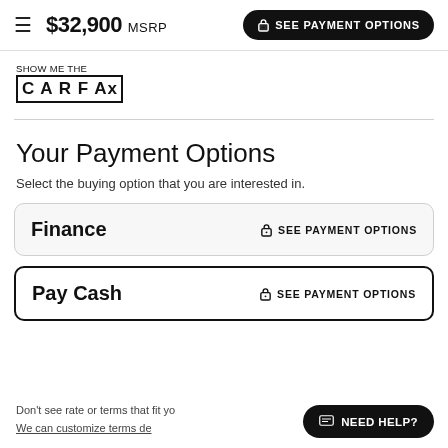$32,900 MSRP  SEE PAYMENT OPTIONS
[Figure (logo): Show Me The CARFAX logo]
Your Payment Options
Select the buying option that you are interested in.
Finance  SEE PAYMENT OPTIONS
Pay Cash  SEE PAYMENT OPTIONS
Don't see rate or terms that fit yo... We can customize terms de...